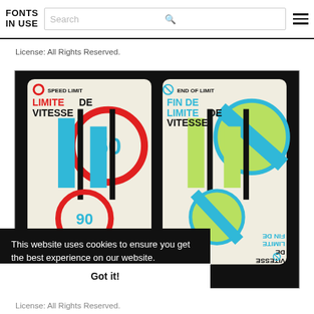FONTS IN USE | Search [search icon] [hamburger menu]
License: All Rights Reserved.
[Figure (illustration): Two Canadian bilingual road sign cards on black background: left card shows 'SPEED LIMIT / LIMITE DE VITESSE' with circular speed limit sign showing 50, in red and cyan; right card shows 'END OF LIMIT / FIN DE LIMITE DE VITESSE' with strikethrough circular sign in cyan and yellow-green. Both signs repeat upside-down at bottom of each card.]
This website uses cookies to ensure you get the best experience on our website. Learn more
Got it!
License: All Rights Reserved.